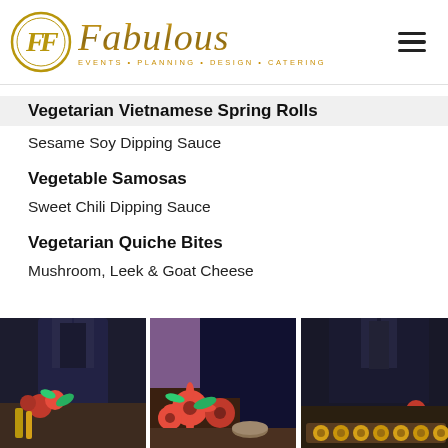[Figure (logo): Fabulous Events Planning Design Catering logo with circular emblem and gold script text]
Vegetarian Vietnamese Spring Rolls
Sesame Soy Dipping Sauce
Vegetable Samosas
Sweet Chili Dipping Sauce
Vegetarian Quiche Bites
Mushroom, Leek & Goat Cheese
[Figure (photo): Three side-by-side catering photos showing a person in dark suit with food displays including red flowers and appetizers]